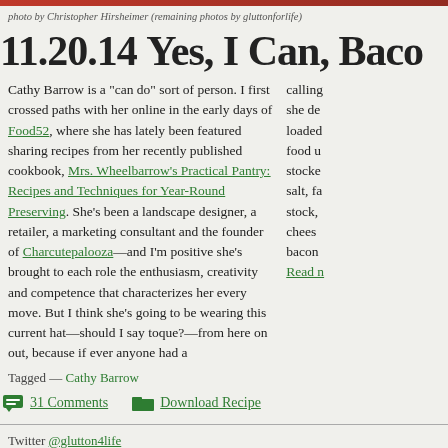photo by Christopher Hirsheimer (remaining photos by gluttonforlife)
11.20.14 Yes, I Can, Baco…
Cathy Barrow is a "can do" sort of person. I first crossed paths with her online in the early days of Food52, where she has lately been featured sharing recipes from her recently published cookbook, Mrs. Wheelbarrow's Practical Pantry: Recipes and Techniques for Year-Round Preserving. She's been a landscape designer, a retailer, a marketing consultant and the founder of Charcutepalooza—and I'm positive she's brought to each role the enthusiasm, creativity and competence that characterizes her every move. But I think she's going to be wearing this current hat—should I say toque?—from here on out, because if ever anyone had a calling…
Tagged — Cathy Barrow
31 Comments   Download Recipe
Twitter @glutton4life